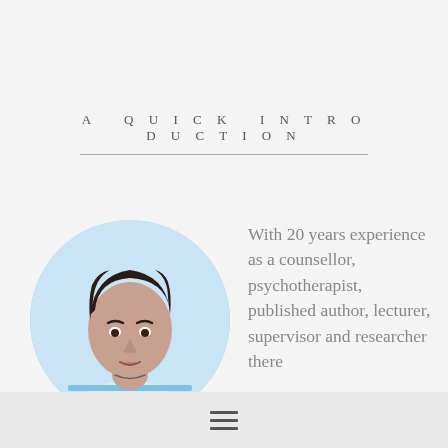A QUICK INTRODUCTION
[Figure (photo): Circular cropped portrait photo of a woman with short dark hair wearing a blue and white striped top, set against a light blue background]
With 20 years experience as a counsellor, psychotherapist, published author, lecturer, supervisor and researcher there
≡